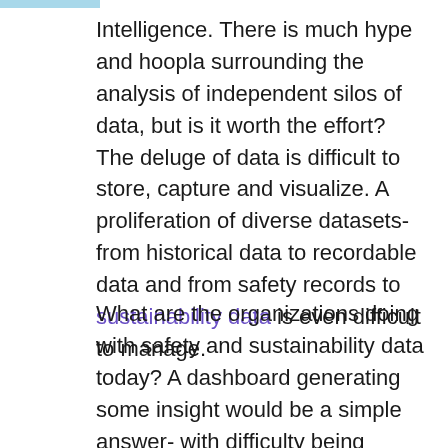Intelligence. There is much hype and hoopla surrounding the analysis of independent silos of data, but is it worth the effort? The deluge of data is difficult to store, capture and visualize. A proliferation of diverse datasets- from historical data to recordable data and from safety records to sustainability data is even difficult to manage.
What are the organizations doing with safety and sustainability data today? A dashboard generating some insight would be a simple answer- with difficulty being